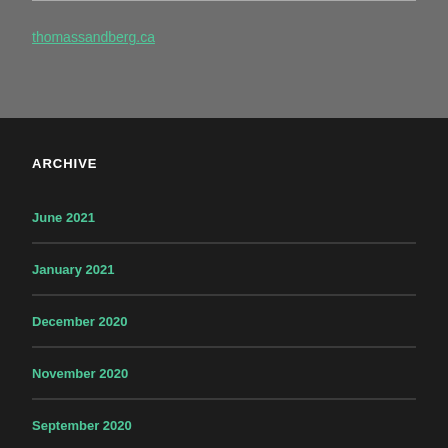thomassandberg.ca
ARCHIVE
June 2021
January 2021
December 2020
November 2020
September 2020